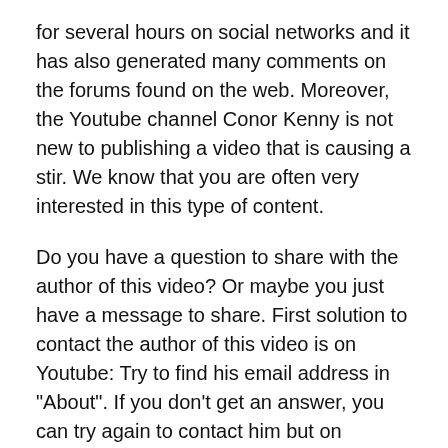for several hours on social networks and it has also generated many comments on the forums found on the web. Moreover, the Youtube channel Conor Kenny is not new to publishing a video that is causing a stir. We know that you are often very interested in this type of content.
Do you have a question to share with the author of this video? Or maybe you just have a message to share. First solution to contact the author of this video is on Youtube: Try to find his email address in "About". If you don't get an answer, you can try again to contact him but on another platform. Twitter seems to be a pretty easy way to contact a Youtuber about one of his contents.
Before leaving, we hope you liked the video LUNA UST: MAJOR UPDATE... is it over yet?, or that it met your expectations in time. When we write an article